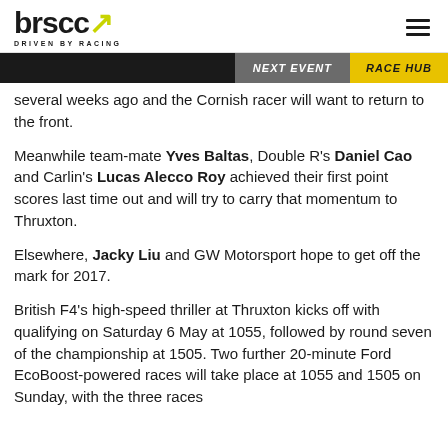brscc DRIVEN BY RACING
several weeks ago and the Cornish racer will want to return to the front.
Meanwhile team-mate Yves Baltas, Double R's Daniel Cao and Carlin's Lucas Alecco Roy achieved their first point scores last time out and will try to carry that momentum to Thruxton.
Elsewhere, Jacky Liu and GW Motorsport hope to get off the mark for 2017.
British F4's high-speed thriller at Thruxton kicks off with qualifying on Saturday 6 May at 1055, followed by round seven of the championship at 1505. Two further 20-minute Ford EcoBoost-powered races will take place at 1055 and 1505 on Sunday, with the three races...